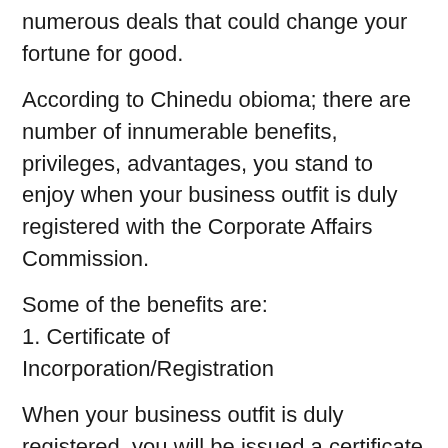numerous deals that could change your fortune for good.
According to Chinedu obioma; there are number of innumerable benefits, privileges, advantages, you stand to enjoy when your business outfit is duly registered with the Corporate Affairs Commission.
Some of the benefits are:
1. Certificate of Incorporation/Registration
When your business outfit is duly registered, you will be issued a certificate of incorporation by the Federal Government of Nigeria through the agency of the Corporate Affairs Commission (CAC)
2. QUICK ACCESSES TO LOAN
There may be a time when your capital isn't enough to fund a particular busines expansion. No banking institution will